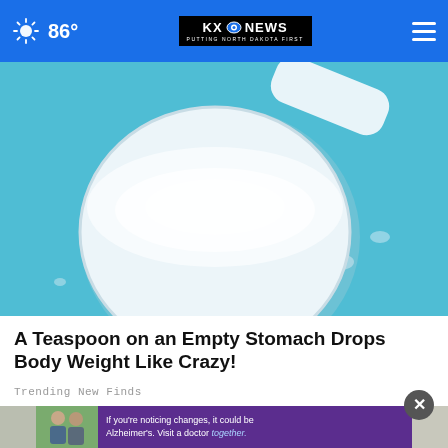86° | KXO NEWS — PUTTING NORTH DAKOTA FIRST
[Figure (photo): Close-up photo of a white powder spilling from a measuring scoop on a blue background, suggesting a dietary supplement or similar powder.]
A Teaspoon on an Empty Stomach Drops Body Weight Like Crazy!
Trending New Finds
[Figure (photo): Partial view of two people outdoors, partially obscured by an advertisement overlay for Alzheimer's awareness: 'If you're noticing changes, it could be Alzheimer's. Visit a doctor together.']